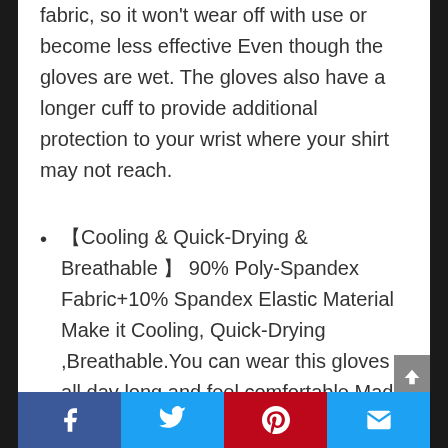fabric, so it won't wear off with use or become less effective Even though the gloves are wet. The gloves also have a longer cuff to provide additional protection to your wrist where your shirt may not reach.
【Cooling & Quick-Drying & Breathable 】 90% Poly-Spandex Fabric+10% Spandex Elastic Material Make it Cooling, Quick-Drying ,Breathable.You can wear this gloves all day long and feel comfortable.Made out of extremely lightweight yet very durable fabric